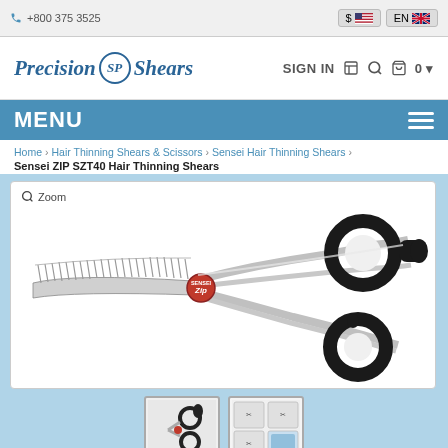+800 375 3525  $ EN
[Figure (logo): Precision Shears logo with italic text and circular SP emblem]
SIGN IN  0
MENU
Home > Hair Thinning Shears & Scissors > Sensei Hair Thinning Shears > Sensei ZIP SZT40 Hair Thinning Shears
[Figure (photo): Sensei ZIP SZT40 Hair Thinning Shears product photo showing silver thinning scissors with black finger rings, toothed blade on left and smooth blade on right, red logo medallion at pivot]
[Figure (photo): Thumbnail image of thinning shears close-up]
[Figure (photo): Thumbnail image showing product usage guide]